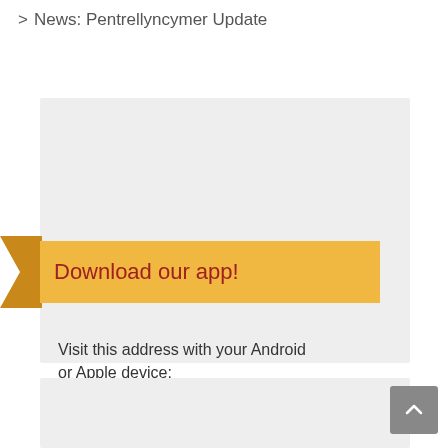> News: Pentrellyncymer Update
[Figure (infographic): Download our app promotional card with ribbon banner on grey background. Card contains text 'Visit this address with your Android or Apple device:' and link 'schoolsays.co.uk/parkcp'. Gold ribbon with red text 'Download our app!' overlays the top of the card with a decorative arrow on the left.]
[Figure (infographic): Second card partially visible at bottom with gold ribbon banner showing italic red text beginning with 'Subscribe to updates...']